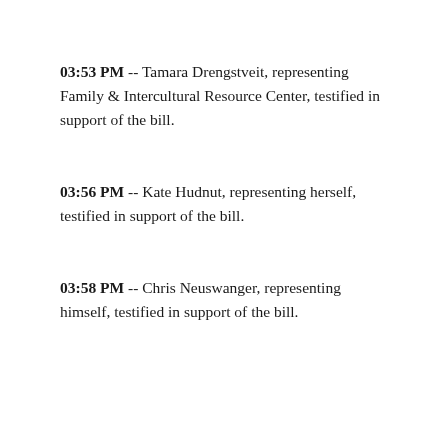03:53 PM -- Tamara Drengstveit, representing Family & Intercultural Resource Center, testified in support of the bill.
03:56 PM -- Kate Hudnut, representing herself, testified in support of the bill.
03:58 PM -- Chris Neuswanger, representing himself, testified in support of the bill.